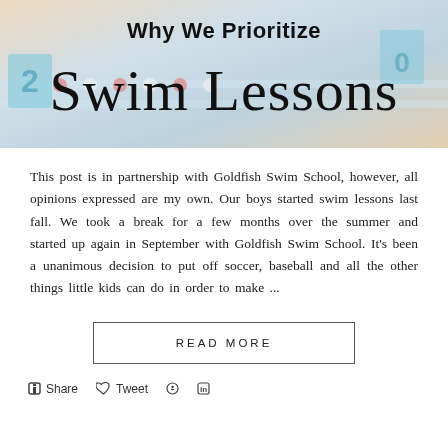[Figure (photo): Header image for blog post about swim lessons, showing pool/swim school setting with lane markers, overlaid with bold text 'Why We Prioritize Swim Lessons' in a mix of sans-serif and cursive/script fonts]
This post is in partnership with Goldfish Swim School, however, all opinions expressed are my own. Our boys started swim lessons last fall. We took a break for a few months over the summer and started up again in September with Goldfish Swim School. It's been a unanimous decision to put off soccer, baseball and all the other things little kids can do in order to make ...
READ MORE
Share   Tweet   in